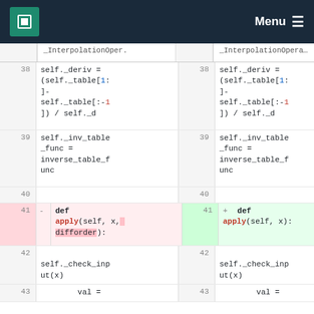MPCDF — Menu
_InterpolationOper. | _InterpolationOperato
38 self._deriv = (self._table[1:]-self._table[:-1]) / self._d | 38 self._deriv = (self._table[1:]-self._table[:-1]) / self._d
39 self._inv_table_func = inverse_table_func | 39 self._inv_table_func = inverse_table_func
40 | 40
41 - def apply(self, x, difforder): | 41 + def apply(self, x):
42 self._check_input(x) | 42 self._check_input(x)
43 val = | 43 val =